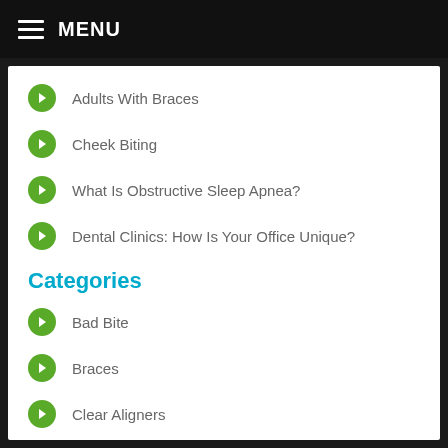MENU
Adults With Braces
Cheek Biting
What Is Obstructive Sleep Apnea?
Dental Clinics: How Is Your Office Unique?
Categories
Bad Bite
Braces
Clear Aligners
Dental Clinic